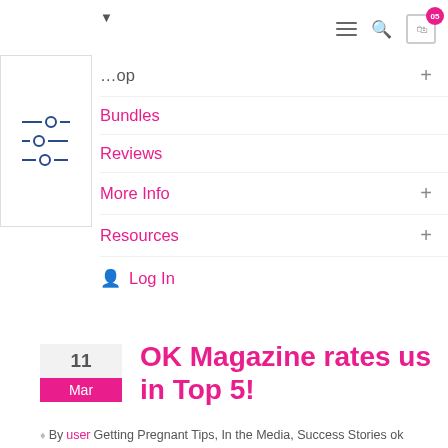Navigation header with hamburger menu, search icon, and cart icon
Shop +
Bundles
Reviews
More Info +
Resources +
Log In
OK Magazine rates us in Top 5!
By user Getting Pregnant Tips, In the Media, Success Stories ok